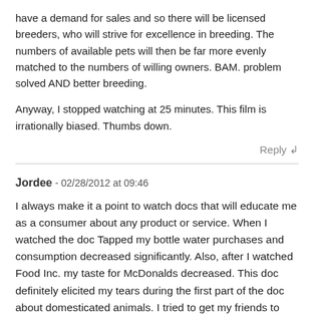have a demand for sales and so there will be licensed breeders, who will strive for excellence in breeding. The numbers of available pets will then be far more evenly matched to the numbers of willing owners. BAM. problem solved AND better breeding.
Anyway, I stopped watching at 25 minutes. This film is irrationally biased. Thumbs down.
Reply ↲
Jordee - 02/28/2012 at 09:46
I always make it a point to watch docs that will educate me as a consumer about any product or service. When I watched the doc Tapped my bottle water purchases and consumption decreased significantly. Also, after I watched Food Inc. my taste for McDonalds decreased. This doc definitely elicited my tears during the first part of the doc about domesticated animals. I tried to get my friends to watch it, but they wouldn't watch past the first 10 minutes,